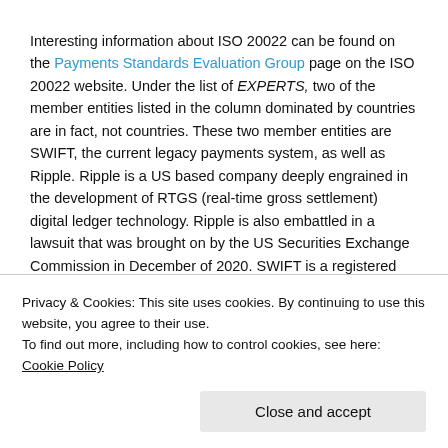Interesting information about ISO 20022 can be found on the Payments Standards Evaluation Group page on the ISO 20022 website. Under the list of EXPERTS, two of the member entities listed in the column dominated by countries are in fact, not countries. These two member entities are SWIFT, the current legacy payments system, as well as Ripple. Ripple is a US based company deeply engrained in the development of RTGS (real-time gross settlement) digital ledger technology. Ripple is also embattled in a lawsuit that was brought on by the US Securities Exchange Commission in December of 2020. SWIFT is a registered expert on the list of all business domain experts while Ripple is on the list for payments
Privacy & Cookies: This site uses cookies. By continuing to use this website, you agree to their use. To find out more, including how to control cookies, see here: Cookie Policy